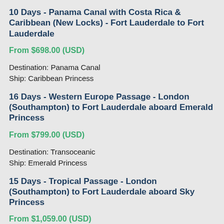10 Days - Panama Canal with Costa Rica & Caribbean (New Locks) - Fort Lauderdale to Fort Lauderdale
From $698.00 (USD)
Destination: Panama Canal
Ship: Caribbean Princess
16 Days - Western Europe Passage - London (Southampton) to Fort Lauderdale aboard Emerald Princess
From $799.00 (USD)
Destination: Transoceanic
Ship: Emerald Princess
15 Days - Tropical Passage - London (Southampton) to Fort Lauderdale aboard Sky Princess
From $1,059.00 (USD)
Destination: Transoceanic
Ship: Sky Princess
7 Days - Mediterranean With Greek Isles & Turkey - Rome (Civitavecchia) to Athens aboard Enchanted P
From $1,049.00 (USD)